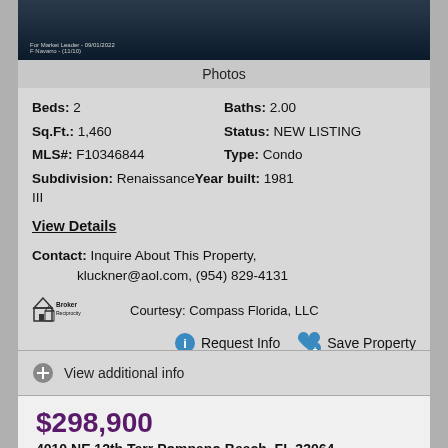[Figure (photo): Aerial/waterfront photo of property, dark image with watermark text: 'For Market Leader - 09/01/2022, F Navarro - (11/10)']
Photos
Beds: 2    Baths: 2.00
Sq.Ft.: 1,460    Status: NEW LISTING
MLS#: F10346844    Type: Condo
Subdivision: Renaissance    Year built: 1981
III
View Details
Contact: Inquire About This Property, kluckner@aol.com, (954) 829-4131
Courtesy: Compass Florida, LLC
Request Info    Save Property
View additional info
$298,900
4010 NE 12th Terr Pompano Beach, FL 33064